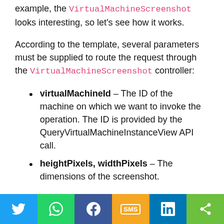example, the VirtualMachineScreenshot looks interesting, so let's see how it works.
According to the template, several parameters must be supplied to route the request through the VirtualMachineScreenshot controller:
virtualMachineId – The ID of the machine on which we want to invoke the operation. The ID is provided by the QueryVirtualMachineInstanceView API call.
heightPixels, widthPixels – The dimensions of the screenshot.
When all of these parameters are provided, the GetVirtualMachineScreenshot function is